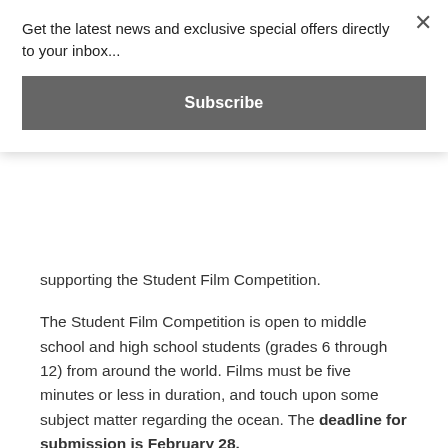Get the latest news and exclusive special offers directly to your inbox...
Subscribe
supporting the Student Film Competition.
The Student Film Competition is open to middle school and high school students (grades 6 through 12) from around the world. Films must be five minutes or less in duration, and touch upon some subject matter regarding the ocean. The deadline for submission is February 28.
According to Blanco, the past two years’ “Virtual Oceans” online Festivals were seen by a record breaking 10,000 people and more than 2500 students